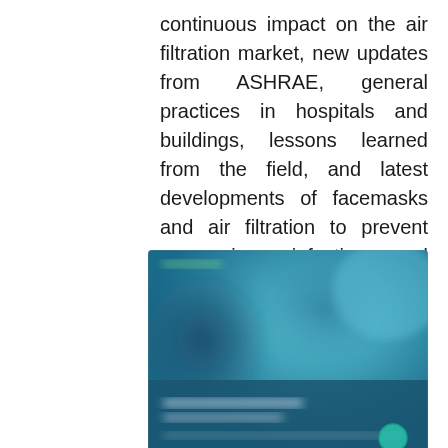continuous impact on the air filtration market, new updates from ASHRAE, general practices in hospitals and buildings, lessons learned from the field, and latest developments of facemasks and air filtration to prevent coronavirus infection and keep your workers and customers safe.
[Figure (screenshot): A blurred screenshot of a webpage or presentation with a blue background showing coronavirus-related content about air filtration, with circular virus imagery and a teal/green button at the bottom right.]